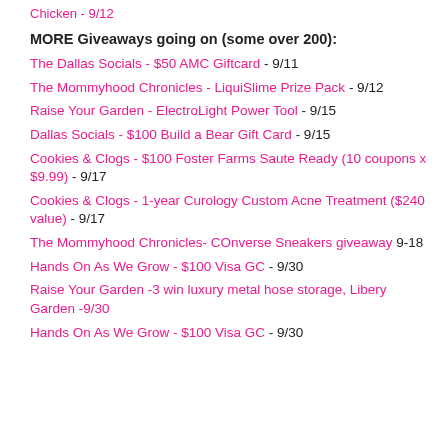Chicken - 9/12
MORE Giveaways going on (some over 200):
The Dallas Socials - $50 AMC Giftcard - 9/11
The Mommyhood Chronicles - LiquiSlime Prize Pack - 9/12
Raise Your Garden - ElectroLight Power Tool - 9/15
Dallas Socials - $100 Build a Bear Gift Card - 9/15
Cookies & Clogs - $100 Foster Farms Saute Ready (10 coupons x $9.99) - 9/17
Cookies & Clogs - 1-year Curology Custom Acne Treatment ($240 value) - 9/17
The Mommyhood Chronicles- COnverse Sneakers giveaway 9-18
Hands On As We Grow - $100 Visa GC - 9/30
Raise Your Garden -3 win luxury metal hose storage, Libery Garden -9/30
Hands On As We Grow - $100 Visa GC - 9/30